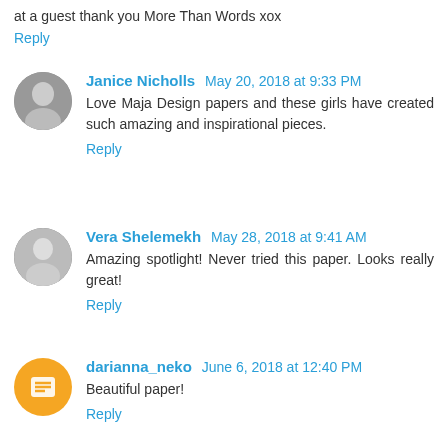at a guest thank you More Than Words xox
Reply
Janice Nicholls May 20, 2018 at 9:33 PM
Love Maja Design papers and these girls have created such amazing and inspirational pieces.
Reply
Vera Shelemekh May 28, 2018 at 9:41 AM
Amazing spotlight! Never tried this paper. Looks really great!
Reply
darianna_neko June 6, 2018 at 12:40 PM
Beautiful paper!
Reply